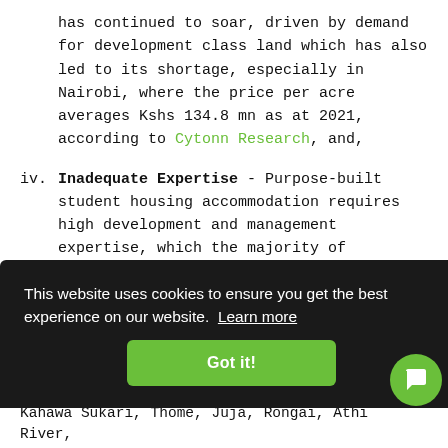has continued to soar, driven by demand for development class land which has also led to its shortage, especially in Nairobi, where the price per acre averages Kshs 134.8 mn as at 2021, according to Cytonn Research, and,
iv. Inadequate Expertise - Purpose-built student housing accommodation requires high development and management expertise, which the majority of developers lack capacity for hence making them shy away from investment in the sector.
This website uses cookies to ensure you get the best experience on our website. Learn more
Got it!
Kahawa Sukari, Thome, Juja, Rongai, Athi River,